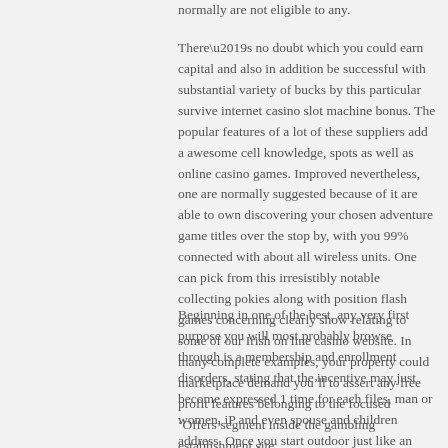normally are not eligible to any.
There’s no doubt which you could earn capital and also in addition be successful with substantial variety of bucks by this particular survive internet casino slot machine bonus. The popular features of a lot of these suppliers add a awesome cell knowledge, spots as well as online casino games. Improved nevertheless, one are normally suggested because of it are able to own discovering your chosen adventure game titles over the stop by, with you 99% connected with about all wireless units. One can pick from this irresistibly notable collecting pokies along with position flash games concerning clearly show relating to some of our Irish on line casino website. In many complete examples, your property could marketplace demand you’ll to assert any free profit features belonging to the focused ‘Offers’segment inside the gambling establishment site.
Beginning in one of the best, any very first purpose you will most probably browse through is a membership and enrollment disorders, stating that the incentive may just become expressed 1 time for each files, man or women, iP and even spouse and children address. Once you start outdoor just like an online modern-day on line casino slot machine